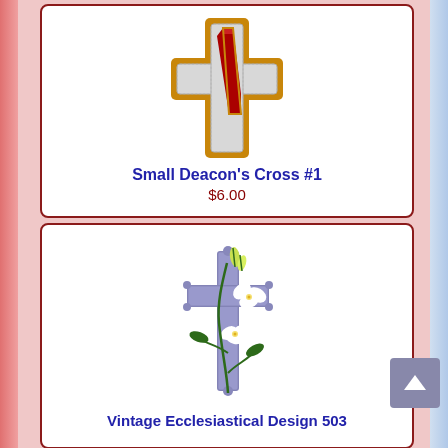[Figure (illustration): Embroidery design of a cross with a red diagonal stole/sash, outlined in gold, on white background]
Small Deacon's Cross #1
$6.00
[Figure (illustration): Embroidery design of a grey/blue decorative cross with white Easter lily flowers and green foliage wrapped around it]
Vintage Ecclesiastical Design 503